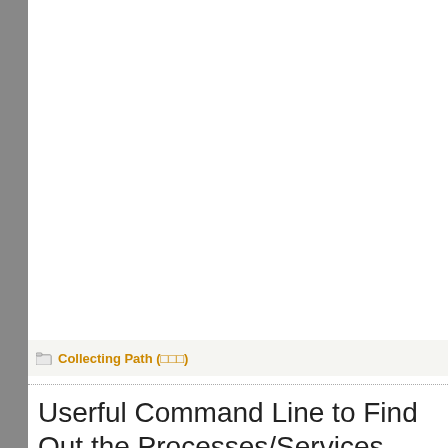Collecting Path (□□□)
Userful Command Line to Find Out the Processes/Services